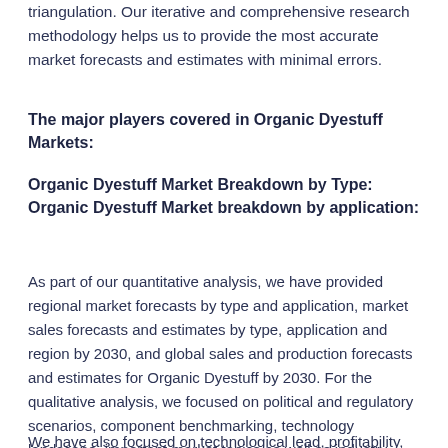triangulation. Our iterative and comprehensive research methodology helps us to provide the most accurate market forecasts and estimates with minimal errors.
The major players covered in Organic Dyestuff Markets:
Organic Dyestuff Market Breakdown by Type: Organic Dyestuff Market breakdown by application:
As part of our quantitative analysis, we have provided regional market forecasts by type and application, market sales forecasts and estimates by type, application and region by 2030, and global sales and production forecasts and estimates for Organic Dyestuff by 2030. For the qualitative analysis, we focused on political and regulatory scenarios, component benchmarking, technology landscape, important market topics as well as industry landscape and trends.
We have also focused on technological lead, profitability,